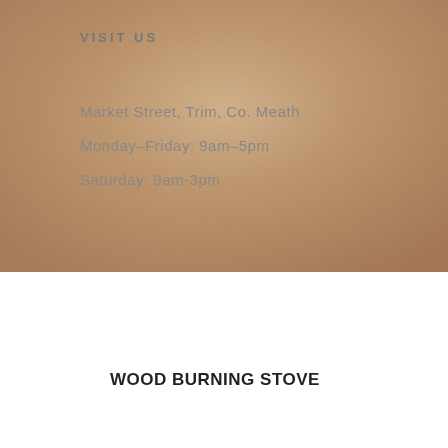[Figure (photo): Textured stone or plaster wall background with warm beige/brown tones filling the top portion of the page]
VISIT US
Market Street, Trim, Co. Meath
Monday–Friday: 9am–5pm
Saturday: 9am-3pm
WOOD BURNING STOVE